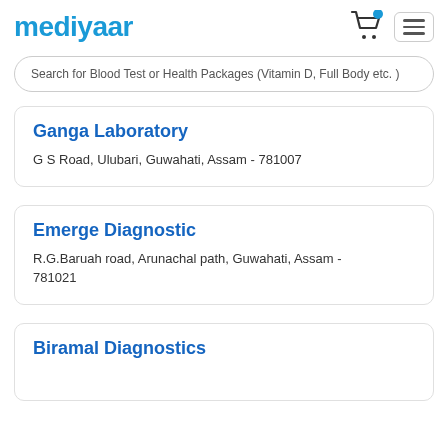mediyaar
Search for Blood Test or Health Packages (Vitamin D, Full Body etc. )
Ganga Laboratory
G S Road, Ulubari, Guwahati, Assam - 781007
Emerge Diagnostic
R.G.Baruah road, Arunachal path, Guwahati, Assam - 781021
Biramal Diagnostics